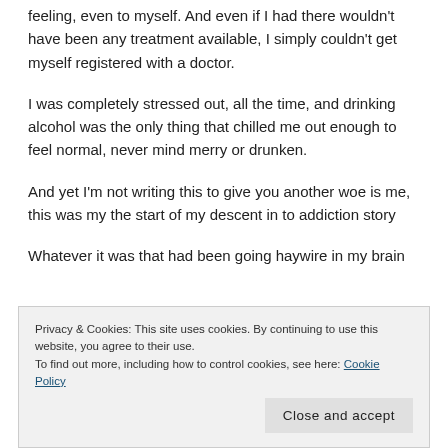feeling, even to myself. And even if I had there wouldn't have been any treatment available, I simply couldn't get myself registered with a doctor.
I was completely stressed out, all the time, and drinking alcohol was the only thing that chilled me out enough to feel normal, never mind merry or drunken.
And yet I'm not writing this to give you another woe is me, this was my the start of my descent in to addiction story
Whatever it was that had been going haywire in my brain
Privacy & Cookies: This site uses cookies. By continuing to use this website, you agree to their use.
To find out more, including how to control cookies, see here: Cookie Policy
Close and accept